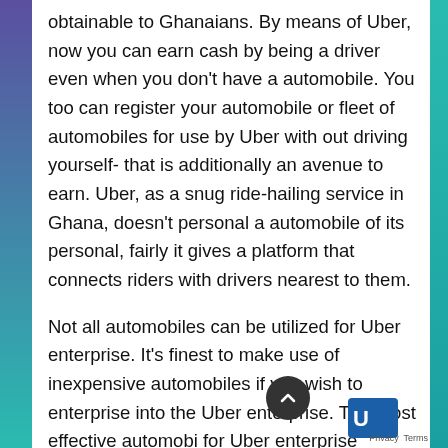obtainable to Ghanaians. By means of Uber, now you can earn cash by being a driver even when you don't have a automobile. You too can register your automobile or fleet of automobiles for use by Uber with out driving yourself- that is additionally an avenue to earn. Uber, as a snug ride-hailing service in Ghana, doesn't personal a automobile of its personal, fairly it gives a platform that connects riders with drivers nearest to them.
Not all automobiles can be utilized for Uber enterprise. It's finest to make use of inexpensive automobiles if you wish to enterprise into the Uber enterprise. The most effective automobi for Uber enterprise should have the next optio